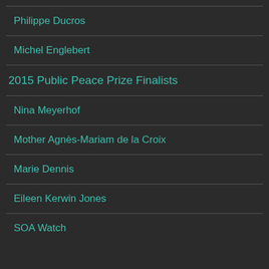Philippe Ducros
Michel Englebert
2015 Public Peace Prize Finalists
Nina Meyerhof
Mother Agnès-Mariam de la Croix
Marie Dennis
Eileen Kerwin Jones
SOA Watch